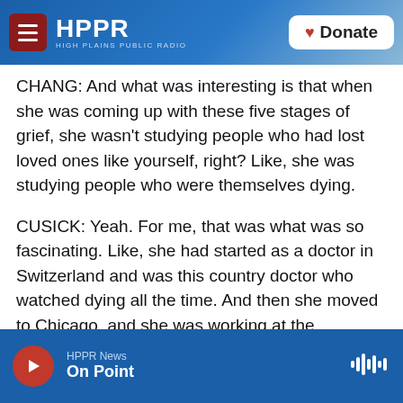HPPR HIGH PLAINS PUBLIC RADIO | Donate
CHANG: And what was interesting is that when she was coming up with these five stages of grief, she wasn't studying people who had lost loved ones like yourself, right? Like, she was studying people who were themselves dying.
CUSICK: Yeah. For me, that was what was so fascinating. Like, she had started as a doctor in Switzerland and was this country doctor who watched dying all the time. And then she moved to Chicago, and she was working at the University of Chicago. And she's sitting in her office, and these students came to her.
HPPR News | On Point